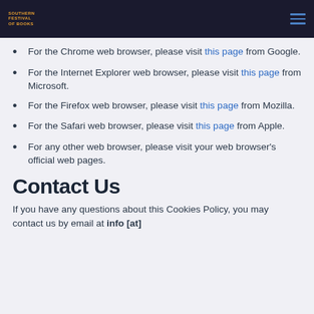Southern Festival of Books
For the Chrome web browser, please visit this page from Google.
For the Internet Explorer web browser, please visit this page from Microsoft.
For the Firefox web browser, please visit this page from Mozilla.
For the Safari web browser, please visit this page from Apple.
For any other web browser, please visit your web browser's official web pages.
Contact Us
If you have any questions about this Cookies Policy, you may contact us by email at info [at]